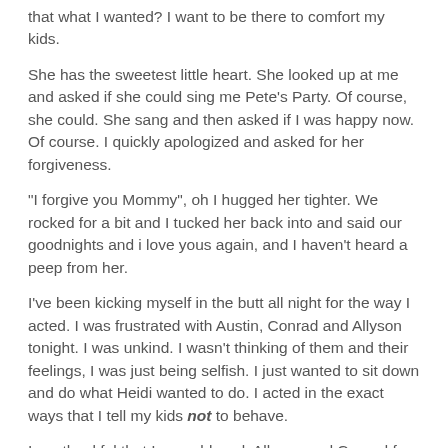that what I wanted? I want to be there to comfort my kids.
She has the sweetest little heart. She looked up at me and asked if she could sing me Pete's Party. Of course, she could. She sang and then asked if I was happy now. Of course. I quickly apologized and asked for her forgiveness.
"I forgive you Mommy", oh I hugged her tighter. We rocked for a bit and I tucked her back into and said our goodnights and i love yous again, and I haven't heard a peep from her.
I've been kicking myself in the butt all night for the way I acted. I was frustrated with Austin, Conrad and Allyson tonight. I was unkind. I wasn't thinking of them and their feelings, I was just being selfish. I just wanted to sit down and do what Heidi wanted to do. I acted in the exact ways that I tell my kids not to behave.
I am thankful that I was able ask Allyson and Conrad for forgiveness. I can move on from tonight and learn from this. I'm forgiven.